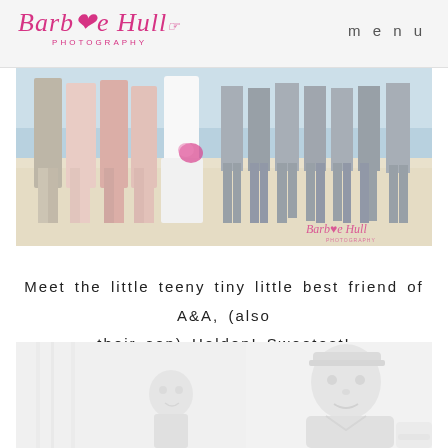Barbie Hull Photography — menu
[Figure (photo): Wide beach wedding photo showing bridesmaids in pink/taupe dresses and groomsmen in grey trousers standing barefoot on the sand, with the bride in white holding a pink bouquet in the center. A Barbie Hull Photography watermark is visible in the lower right corner.]
Meet the little teeny tiny little best friend of A&A, (also their son) Holden! Sweetest!
[Figure (photo): Black and white/very light photo of a small child and an adult (father) looking at each other, indoors with soft lighting.]